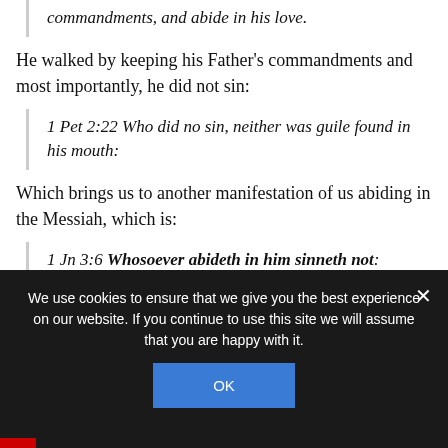commandments, and abide in his love.
He walked by keeping his Father's commandments and most importantly, he did not sin:
1 Pet 2:22 Who did no sin, neither was guile found in his mouth:
Which brings us to another manifestation of us abiding in the Messiah, which is:
1 Jn 3:6 Whosoever abideth in him sinneth not: whosoever sinneth hath not seen him, neither known him.
We use cookies to ensure that we give you the best experience on our website. If you continue to use this site we will assume that you are happy with it.